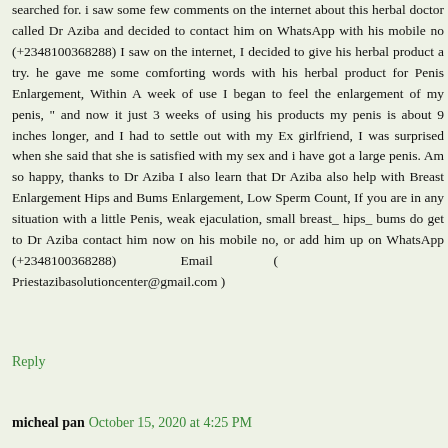searched for. i saw some few comments on the internet about this herbal doctor called Dr Aziba and decided to contact him on WhatsApp with his mobile no (+2348100368288) I saw on the internet, I decided to give his herbal product a try. he gave me some comforting words with his herbal product for Penis Enlargement, Within A week of use I began to feel the enlargement of my penis, " and now it just 3 weeks of using his products my penis is about 9 inches longer, and I had to settle out with my Ex girlfriend, I was surprised when she said that she is satisfied with my sex and i have got a large penis. Am so happy, thanks to Dr Aziba I also learn that Dr Aziba also help with Breast Enlargement Hips and Bums Enlargement, Low Sperm Count, If you are in any situation with a little Penis, weak ejaculation, small breast_ hips_ bums do get to Dr Aziba contact him now on his mobile no, or add him up on WhatsApp (+2348100368288)                    Email                  ( Priestazibasolutioncenter@gmail.com )
Reply
micheal pan October 15, 2020 at 4:25 PM